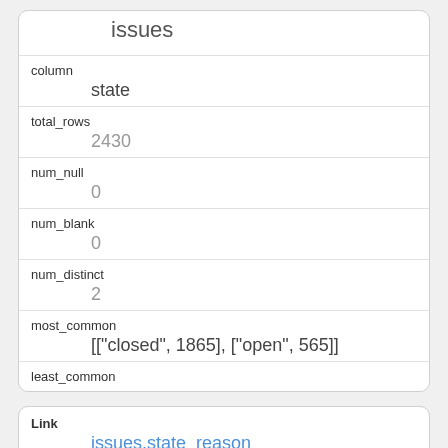| field | value |
| --- | --- |
|  | issues |
| column | state |
| total_rows | 2430 |
| num_null | 0 |
| num_blank | 0 |
| num_distinct | 2 |
| most_common | [["closed", 1865], ["open", 565]] |
| least_common |  |
| field | value |
| --- | --- |
| Link | issues,state_reason |
| table | issues |